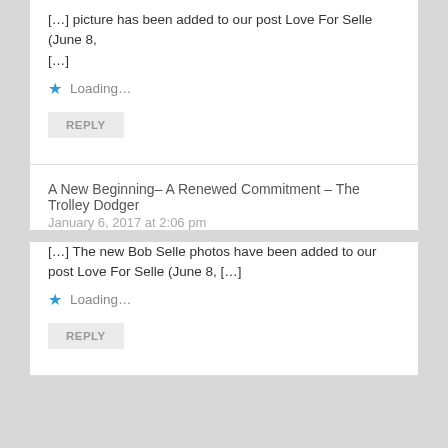[…] picture has been added to our post Love For Selle (June 8, […]
★ Loading…
REPLY
A New Beginning– A Renewed Commitment – The Trolley Dodger
January 6, 2017 at 2:06 pm
[…] The new Bob Selle photos have been added to our post Love For Selle (June 8, […]
★ Loading…
REPLY